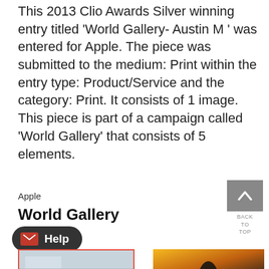This 2013 Clio Awards Silver winning entry titled 'World Gallery- Austin M ' was entered for Apple. The piece was submitted to the medium: Print within the entry type: Product/Service and the category: Print. It consists of 1 image. This piece is part of a campaign called 'World Gallery' that consists of 5 elements.
Apple
World Gallery
[Figure (other): Back to top button with upward arrow chevron icon on grey background]
[Figure (other): Help button with envelope icon on dark rounded background]
[Figure (photo): Thumbnail image with red border, appears to show a landscape or sky scene]
[Figure (photo): Thumbnail image showing a silhouette against a warm sunset sky]